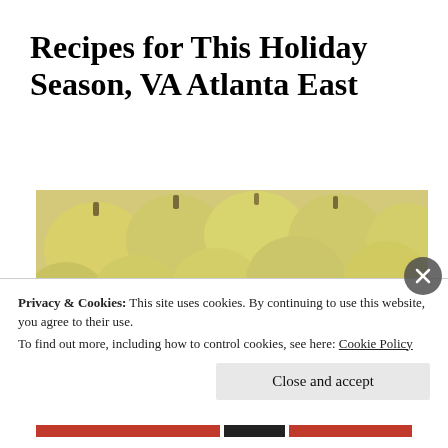Recipes for This Holiday Season, VA Atlanta East
[Figure (photo): A pile of assorted gourds and squashes: yellow/cream colored squash on top, dark green/black pumpkins in the middle, and orange pumpkins at the bottom, with a butternut squash on the right side.]
Privacy & Cookies: This site uses cookies. By continuing to use this website, you agree to their use.
To find out more, including how to control cookies, see here: Cookie Policy
Close and accept